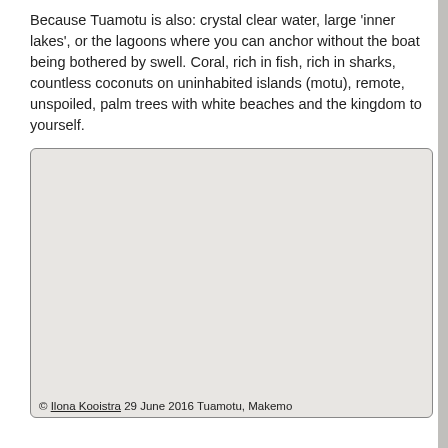Because Tuamotu is also: crystal clear water, large 'inner lakes', or the lagoons where you can anchor without the boat being bothered by swell. Coral, rich in fish, rich in sharks, countless coconuts on uninhabited islands (motu), remote, unspoiled, palm trees with white beaches and the kingdom to yourself.
[Figure (photo): A large image placeholder with light gray background, bordered with rounded corners. At the bottom is a copyright caption.]
© Ilona Kooistra 29 June 2016 Tuamotu, Makemo